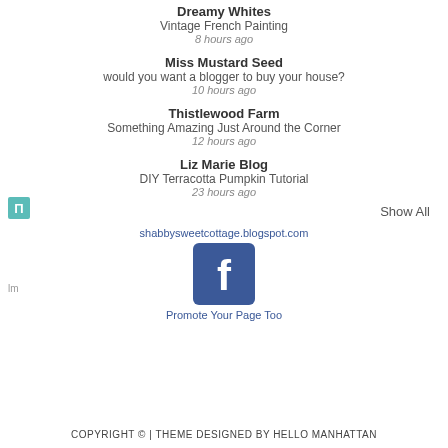Dreamy Whites
Vintage French Painting
8 hours ago
Miss Mustard Seed
would you want a blogger to buy your house?
10 hours ago
Thistlewood Farm
Something Amazing Just Around the Corner
12 hours ago
Liz Marie Blog
DIY Terracotta Pumpkin Tutorial
23 hours ago
Show All
shabbysweetcottage.blogspot.com
[Figure (logo): Facebook logo icon - blue square with white 'f' letter]
Promote Your Page Too
COPYRIGHT © | THEME DESIGNED BY HELLO MANHATTAN